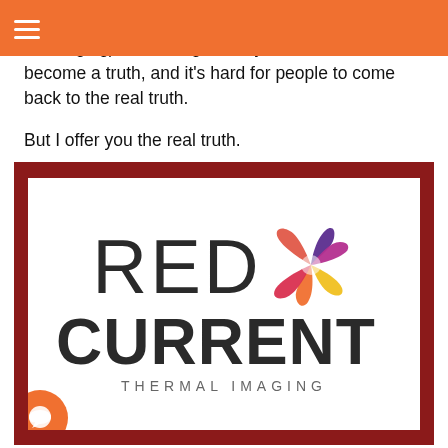≡ (hamburger menu)
ng things (i.e. the tools rather than the strategy messaging) for so long, the myth has almost become a truth, and it's hard for people to come back to the real truth.
But I offer you the real truth.
[Figure (logo): Red Current Thermal Imaging logo — dark red border frame with white interior, large text 'RED' in light weight and a colorful pinwheel/iris graphic, 'CURRENT' in bold below, and 'THERMAL IMAGING' subtitle at the bottom. An orange chat bubble icon overlays the bottom-left corner.]